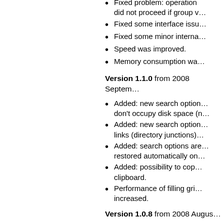Fixed problem: operation did not proceed if group v…
Fixed some interface issu…
Fixed some minor interna…
Speed was improved.
Memory consumption wa…
Version 1.1.0 from 2008 Septem…
Added: new search option… don't occupy disk space (n…
Added: new search option… links (directory junctions)…
Added: search options are… restored automatically on…
Added: possibility to cop… clipboard.
Performance of filling gri… increased.
Version 1.0.8 from 2008 Augus…
Fixed some spelling mista…
Fixed some interface issu…
Version 1.0.7 from 2008 July…